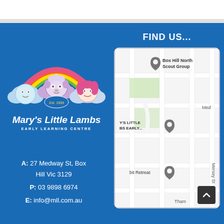[Figure (logo): Mary's Little Lambs Early Learning Centre logo with rainbow and children faces on clouds]
A: 27 Medway St, Box Hill Vic 3129
P: 03 9898 6974
E: info@mll.com.au
FIND US...
[Figure (map): Google Maps screenshot showing location of Mary's Little Lambs Early Learning Centre at 27 Medway St, Box Hill. Nearby landmarks include Box Hill North Scout Group and a street view of Mersey St and Thames St.]